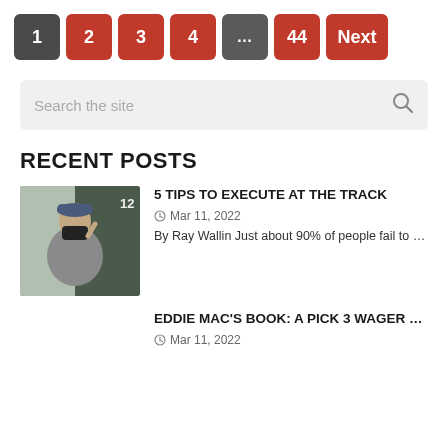Pagination: 1 (current), 2, 3, 4, ..., 44, Next
Search the site
RECENT POSTS
[Figure (photo): A man wearing a grey polo shirt and blue baseball cap, talking on a phone, standing outside.]
5 TIPS TO EXECUTE AT THE TRACK
Mar 11, 2022
By Ray Wallin Just about 90% of people fail to ...
EDDIE MAC'S BOOK: A PICK 3 WAGER ...
Mar 11, 2022